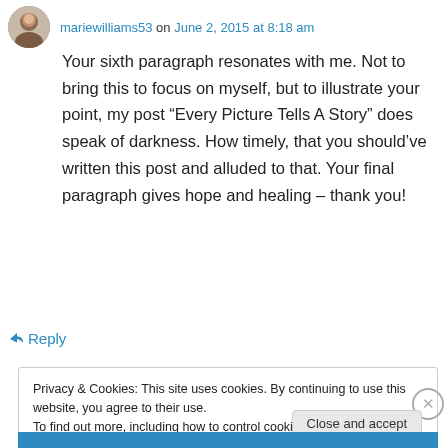mariewilliams53 on June 2, 2015 at 8:18 am
Your sixth paragraph resonates with me. Not to bring this to focus on myself, but to illustrate your point, my post “Every Picture Tells A Story” does speak of darkness. How timely, that you should’ve written this post and alluded to that. Your final paragraph gives hope and healing – thank you!
↪ Reply
Privacy & Cookies: This site uses cookies. By continuing to use this website, you agree to their use.
To find out more, including how to control cookies, see here: Cookie Policy
Close and accept